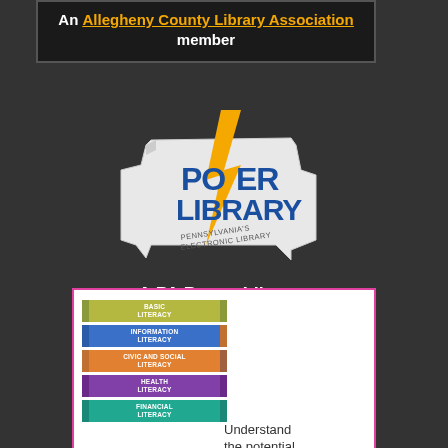An Allegheny County Library Association member
[Figure (logo): PA Power Library logo — Pennsylvania state outline with lightning bolt, text POWER LIBRARY PENNSYLVANIA'S ELECTRONIC LIBRARY]
A PA Power Library
[Figure (infographic): PA Forward infographic showing five literacy pillars: Basic Literacy, Information Literacy, Civic and Social Literacy, Health Literacy, Financial Literacy. Right side reads: Understand the potential in your library. PA Forward logo with pink rectangle.]